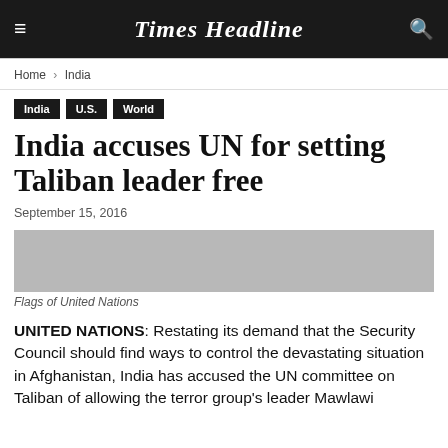Times Headline
Home › India
India
U.S.
World
India accuses UN for setting Taliban leader free
September 15, 2016
[Figure (photo): Flags of United Nations — grey placeholder image]
Flags of United Nations
UNITED NATIONS: Restating its demand that the Security Council should find ways to control the devastating situation in Afghanistan, India has accused the UN committee on Taliban of allowing the terror group's leader Mawlawi